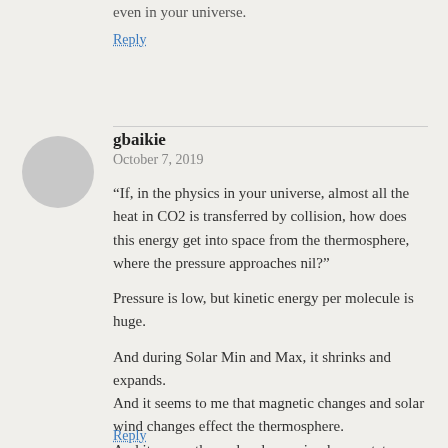even in your universe.
Reply
gbaikie
October 7, 2019
“If, in the physics in your universe, almost all the heat in CO2 is transferred by collision, how does this energy get into space from the thermosphere, where the pressure approaches nil?”
Pressure is low, but kinetic energy per molecule is huge.
And during Solar Min and Max, it shrinks and expands.
And it seems to me that magnetic changes and solar wind changes effect the thermosphere.
And it seems the molecules are in plasma state rather than gas state.
Reply